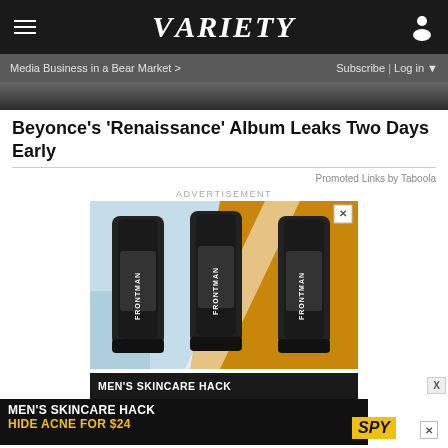VARIETY
Media Business in a Bear Market > | Subscribe | Log in
[Figure (photo): Dark hero image at top of article]
Beyonce's 'Renaissance' Album Leaks Two Days Early
Promoted Links by Taboola
ADVERTISEMENT
[Figure (photo): Advertisement showing three FRONTMAN skincare tubes on a teal/orange geometric background. Bottom strip reads MEN'S SKINCARE HACK.]
[Figure (photo): Overlay advertisement: MEN'S SKINCARE HACK / HIDE ACNE FOR $24, with SPY logo in yellow on black background.]